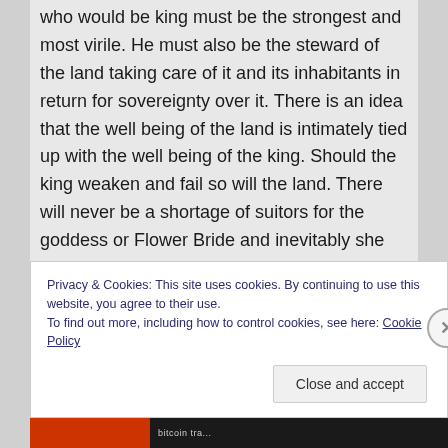who would be king must be the strongest and most virile. He must also be the steward of the land taking care of it and its inhabitants in return for sovereignty over it. There is an idea that the well being of the land is intimately tied up with the well being of the king. Should the king weaken and fail so will the land. There will never be a shortage of suitors for the goddess or Flower Bride and inevitably she must choose the strongest and the most potent for her consort to ensure the fertility, renewal and well
Privacy & Cookies: This site uses cookies. By continuing to use this website, you agree to their use.
To find out more, including how to control cookies, see here: Cookie Policy
Close and accept